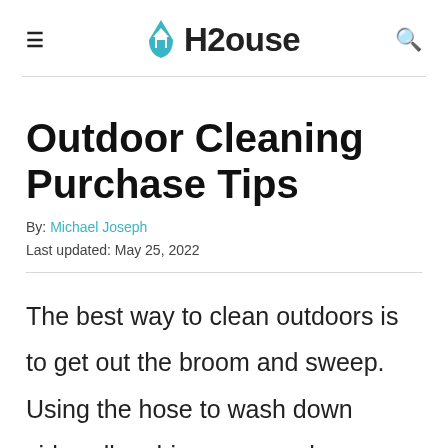≡  H2ouse  🔍
Outdoor Cleaning Purchase Tips
By: Michael Joseph
Last updated: May 25, 2022
The best way to clean outdoors is to get out the broom and sweep. Using the hose to wash down sidewalks, driveways, and